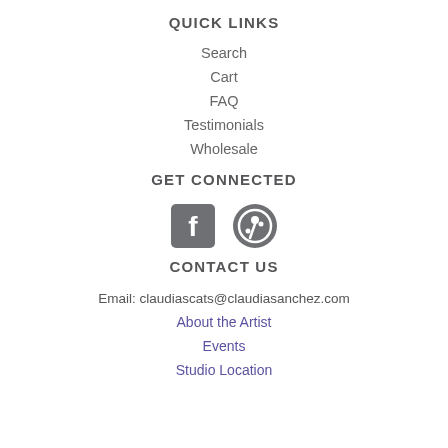QUICK LINKS
Search
Cart
FAQ
Testimonials
Wholesale
GET CONNECTED
[Figure (illustration): Facebook and Pinterest social media icons in grey]
CONTACT US
Email: claudiascats@claudiasanchez.com
About the Artist
Events
Studio Location